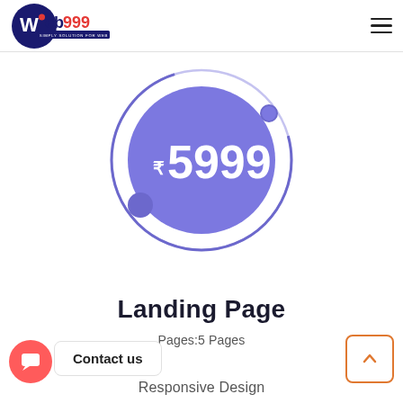[Figure (logo): Web999 logo with blue circular icon containing a W and red/blue text 'web999', tagline 'SIMPLY SOLUTION FOR WEB']
[Figure (infographic): Purple pricing circle graphic showing ₹5999 in large white text, with orbital ring and decorative dots]
Landing Page
Pages:5 Pages
Responsive Design